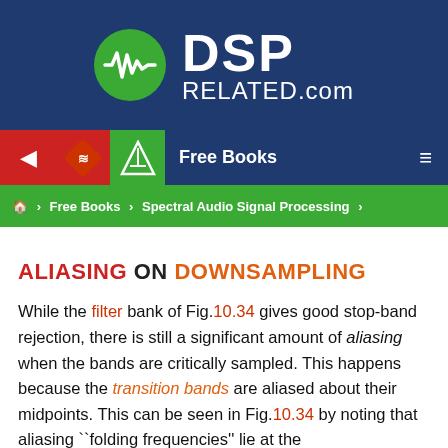[Figure (logo): DSPRelated.com logo: dark blue banner with green circle containing waveform icon and white text 'DSP RELATED.com']
Free Books
🏠 > Free Books > Spectral Audio Signal Processing >
ALIASING ON DOWNSAMPLING
While the filter bank of Fig.10.34 gives good stop-band rejection, there is still a significant amount of aliasing when the bands are critically sampled. This happens because the transition bands are aliased about their midpoints. This can be seen in Fig.10.34 by noting that aliasing ``folding frequencies'' lie at the